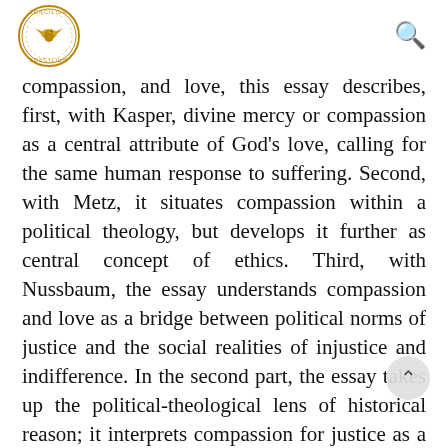Concilium logo and search icon
compassion, and love, this essay describes, first, with Kasper, divine mercy or compassion as a central attribute of God’s love, calling for the same human response to suffering. Second, with Metz, it situates compassion within a political theology, but develops it further as central concept of ethics. Third, with Nussbaum, the essay understands compassion and love as a bridge between political norms of justice and the social realities of injustice and indifference. In the second part, the essay takes up the political-theological lens of historical reason; it interprets compassion for justice as a practi…e of critical witnessing and resistance, and transformative solidarity. It upholds the